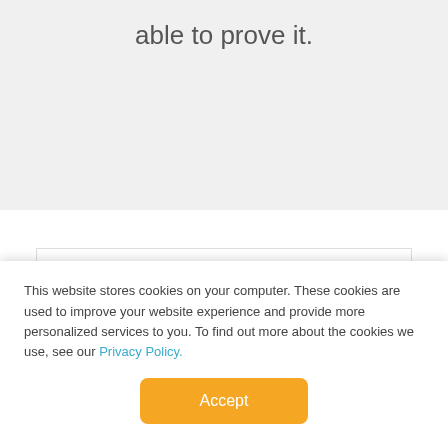able to prove it.
Working with Marketing Essentials, we've dramatically increased our website traffic, our social media presence and our library of content.
This website stores cookies on your computer. These cookies are used to improve your website experience and provide more personalized services to you. To find out more about the cookies we use, see our Privacy Policy.
Accept